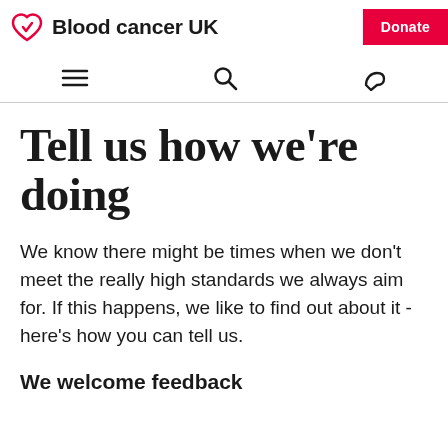Blood cancer UK | Donate
[Figure (logo): Blood Cancer UK logo with red heart icon and bold text, plus red Donate button]
Tell us how we're doing
We know there might be times when we don't meet the really high standards we always aim for. If this happens, we like to find out about it - here's how you can tell us.
We welcome feedback